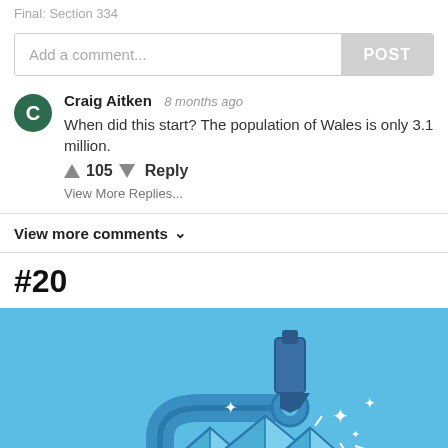Add a comment...
Craig Aitken  8 months ago
When did this start? The population of Wales is only 3.1 million.
↑ 105 ↓  Reply
View More Replies...
View more comments ∨
#20
[Figure (illustration): Blue background illustration showing a robotic arm or drill pressing down on diamond gems, with sparkle effects around them.]